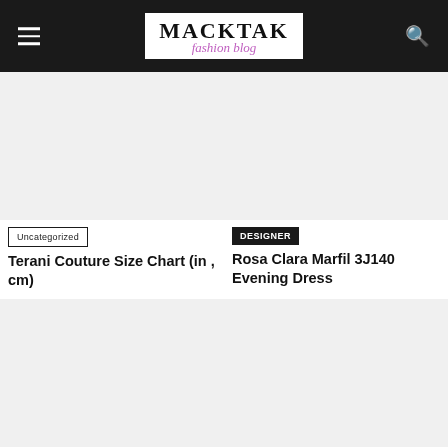MACKTAK fashion blog
[Figure (photo): Blank/empty image placeholder for Terani Couture Size Chart article, top-left card]
Uncategorized
Terani Couture Size Chart (in , cm)
[Figure (photo): Blank/empty image placeholder for Rosa Clara Marfil 3J140 Evening Dress article, top-right card]
DESIGNER
Rosa Clara Marfil 3J140 Evening Dress
[Figure (photo): Blank/empty image placeholder for Shine in Rosa Clara Marfil 3J136 Dress article, bottom-left card]
Uncategorized
Shine in Rosa Clara Marfil 3J136 Dress
[Figure (photo): Blank/empty image placeholder for Details On Rosa Clara Aire 3U172 Evening Dress article, bottom-right card]
DESIGNER
Details On Rosa Clara Aire 3U172 Evening Dress